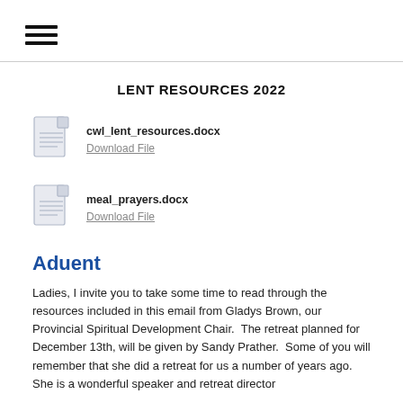[Figure (illustration): Hamburger menu icon (three horizontal black lines)]
LENT RESOURCES 2022
[Figure (illustration): Document file icon for cwl_lent_resources.docx with Download File link]
[Figure (illustration): Document file icon for meal_prayers.docx with Download File link]
Aduent
Ladies, I invite you to take some time to read through the resources included in this email from Gladys Brown, our Provincial Spiritual Development Chair.  The retreat planned for December 13th, will be given by Sandy Prather.  Some of you will remember that she did a retreat for us a number of years ago.  She is a wonderful speaker and retreat director